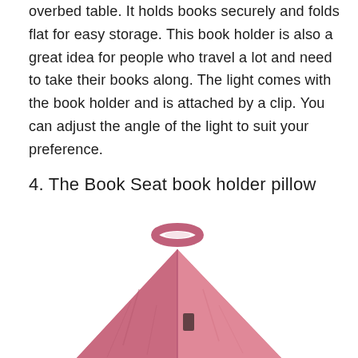overbed table. It holds books securely and folds flat for easy storage. This book holder is also a great idea for people who travel a lot and need to take their books along. The light comes with the book holder and is attached by a clip. You can adjust the angle of the light to suit your preference.
4. The Book Seat book holder pillow
[Figure (photo): A pink/rose-colored Book Seat book holder pillow with a handle strap at the top and a triangular/wedge shape, shown from the front.]